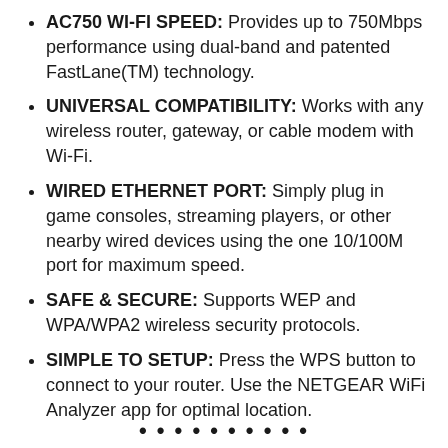AC750 WI-FI SPEED: Provides up to 750Mbps performance using dual-band and patented FastLane(TM) technology.
UNIVERSAL COMPATIBILITY: Works with any wireless router, gateway, or cable modem with Wi-Fi.
WIRED ETHERNET PORT: Simply plug in game consoles, streaming players, or other nearby wired devices using the one 10/100M port for maximum speed.
SAFE & SECURE: Supports WEP and WPA/WPA2 wireless security protocols.
SIMPLE TO SETUP: Press the WPS button to connect to your router. Use the NETGEAR WiFi Analyzer app for optimal location.